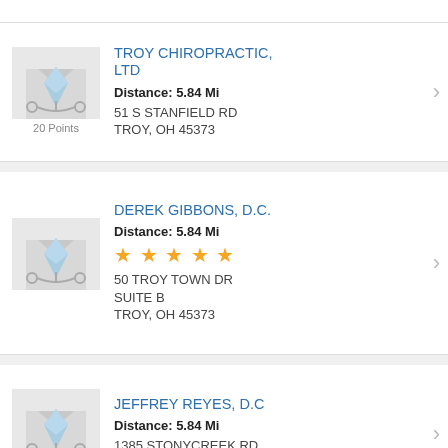TROY CHIROPRACTIC, LTD | Distance: 5.84 Mi | 51 S STANFIELD RD TROY, OH 45373 | 20 Points
DEREK GIBBONS, D.C. | Distance: 5.84 Mi | ★★★★★ | 50 TROY TOWN DR SUITE B TROY, OH 45373
JEFFREY REYES, D.C | Distance: 5.84 Mi | 1385 STONYCREEK RD SUITE L